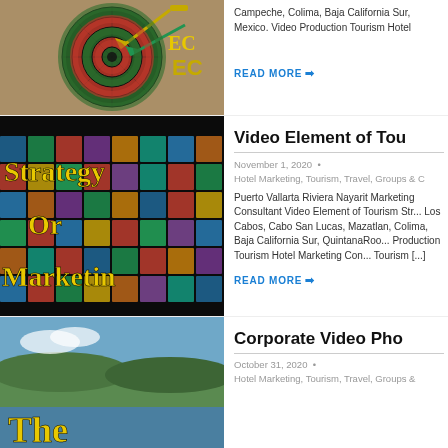[Figure (photo): Top-left cropped image showing a dart target with colorful darts and text 'ECo' visible, partially cut off]
Campeche, Colima, Baja California Sur, Mexico. Video Production Tourism Hotel
READ MORE →
[Figure (photo): Image of a video wall with TV screens showing various content, overlaid with yellow text reading 'Strategy Or Marketin']
Video Element of Tour
November 1, 2020  •  Hotel Marketing, Tourism, Travel, Groups & C
Puerto Vallarta Riviera Nayarit Marketing Consultant Video Element of Tourism Str... Los Cabos, Cabo San Lucas, Mazatlan, Colima, Baja California Sur, QuintanaRoo... Production Tourism Hotel Marketing Con... Tourism [...]
READ MORE →
[Figure (photo): Aerial or coastal view with yellow text reading 'The' overlaid on bottom portion]
Corporate Video Pho
October 31, 2020  •  Hotel Marketing, Tourism, Travel, Groups &